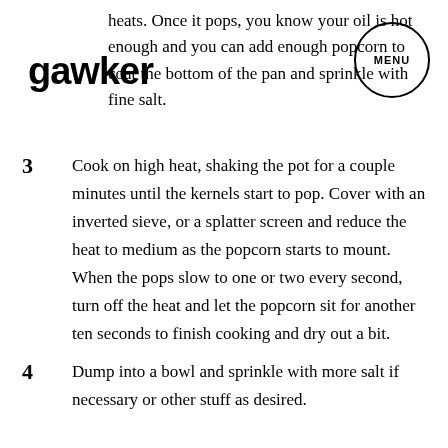gawker | MENU
heats. Once it pops, you know your oil is hot enough and you can add enough popcorn to coat the bottom of the pan and sprinkle with fine salt.
3  Cook on high heat, shaking the pot for a couple minutes until the kernels start to pop. Cover with an inverted sieve, or a splatter screen and reduce the heat to medium as the popcorn starts to mount. When the pops slow to one or two every second, turn off the heat and let the popcorn sit for another ten seconds to finish cooking and dry out a bit.
4  Dump into a bowl and sprinkle with more salt if necessary or other stuff as desired.